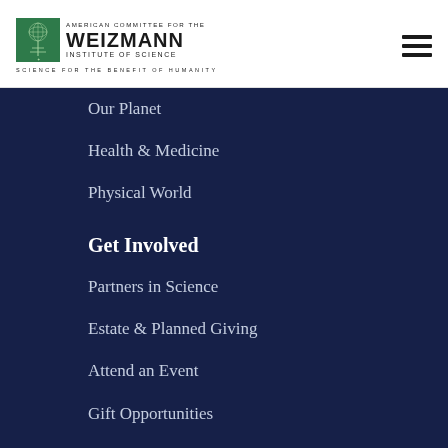[Figure (logo): American Committee for the Weizmann Institute of Science logo with green tree icon and text. Tagline: SCIENCE FOR THE BENEFIT OF HUMANITY]
Our Planet
Health & Medicine
Physical World
Get Involved
Partners in Science
Estate & Planned Giving
Attend an Event
Gift Opportunities
News & Media
Blog: Curiosity Review